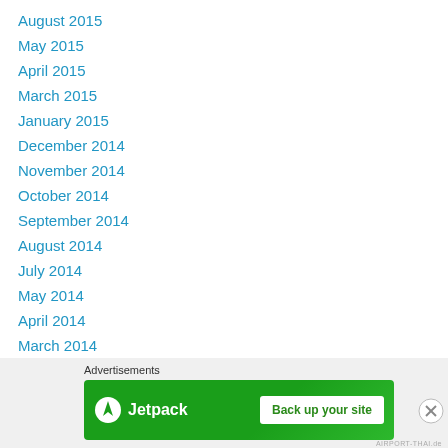August 2015
May 2015
April 2015
March 2015
January 2015
December 2014
November 2014
October 2014
September 2014
August 2014
July 2014
May 2014
April 2014
March 2014
February 2014
January 2014
Advertisements
[Figure (other): Jetpack advertisement banner with logo and 'Back up your site' button on green background]